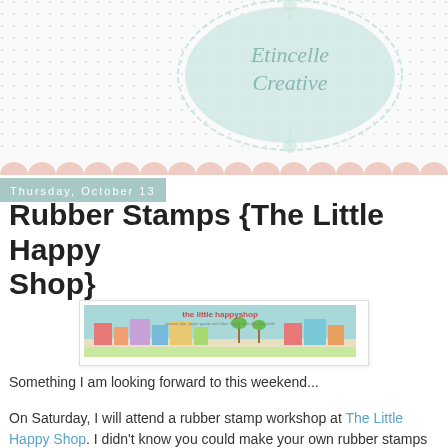[Figure (logo): Etincelle Creative blog logo — ornate aqua oval frame with script text reading 'Etincelle Creative' on a dotted background]
[Figure (illustration): Pink scallop/mountain decorative strip running full width at bottom of header]
Thursday, October 13
Rubber Stamps {The Little Happy Shop}
[Figure (screenshot): Banner image for 'the little happyship' shop showing a colorful illustrated street scene]
Something I am looking forward to this weekend...
On Saturday, I will attend a rubber stamp workshop at The Little Happy Shop. I didn't know you could make your own rubber stamps until I stumbled upon posts on a couple of